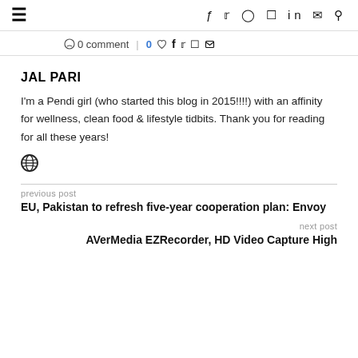≡   f  ᵗ  ◯  ⊕  in  ✉  🔍
0 comment  |  0♡  f  t  ⊕  ✉
JAL PARI
I'm a Pendi girl (who started this blog in 2015!!!!) with an affinity for wellness, clean food & lifestyle tidbits. Thank you for reading for all these years!
🌐
previous post
EU, Pakistan to refresh five-year cooperation plan: Envoy
next post
AVerMedia EZRecorder, HD Video Capture High